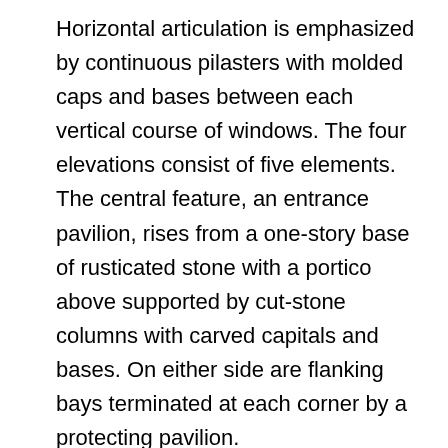Horizontal articulation is emphasized by continuous pilasters with molded caps and bases between each vertical course of windows. The four elevations consist of five elements. The central feature, an entrance pavilion, rises from a one-story base of rusticated stone with a portico above supported by cut-stone columns with carved capitals and bases. On either side are flanking bays terminated at each corner by a protecting pavilion.
As built, the courthouse was dominated by a central tower, 125 feet high, terminated by a statue of the Goddess of Justice, with sword and balance in hand which has since been removed. The tower was supported on a wide base and surrounded by colonnade with fluted